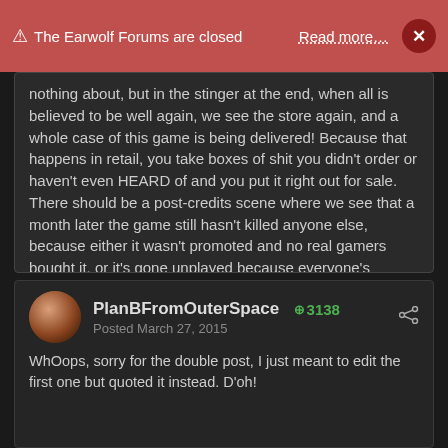⚠ The Earwolf Forums are closed  Read more…  ×
nothing about, but in the stinger at the end, when all is believed to be well again, we see the store again, and a whole case of this game is being delivered! Because that happens in retail, you take boxes of shit you didn't order or haven't even HEARD of and you put it right out for sale. There should be a post-credits scene where we see that a month later the game still hasn't killed anyone else, because either it wasn't promoted and no real gamers bought it, or it's gone unplayed because everyone's grandma bought it for them for the wrong system...
PlanBFromOuterSpace  +3138
Posted March 27, 2015

WhOops, sorry for the double post, I just meant to edit the first one but quoted it instead. D'oh!